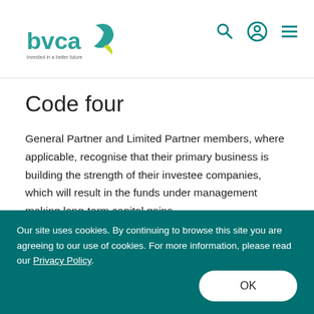[Figure (logo): BVCA logo with teal and green swoosh design, text 'bvca' with tagline 'Invested in a better future']
Code four
General Partner and Limited Partner members, where applicable, recognise that their primary business is building the strength of their investee companies, which will result in the funds under management making long-term capital gains.
Code five
Our site uses cookies. By continuing to browse this site you are agreeing to our use of cookies. For more information, please read our Privacy Policy.